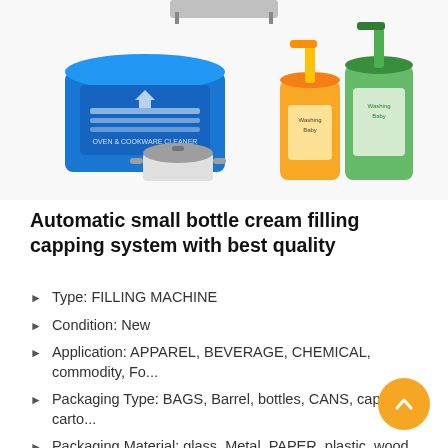[Figure (photo): Two product images side by side: left shows a blue tub of stainless steel/cookware cleaner with a pot, right shows two pump bottles of liquid soap (yellow and green).]
Automatic small bottle cream filling capping system with best quality
Type: FILLING MACHINE
Condition: New
Application: APPAREL, BEVERAGE, CHEMICAL, commodity, Fo...
Packaging Type: BAGS, Barrel, bottles, CANS, capsule, carto...
Packaging Material: glass, Metal, PAPER, plastic, wood, Mult...
Automatic Grade: Automatic
Driven Type: PNEUMATIC
Voltage: 220V/380V
Power: 2.2KW